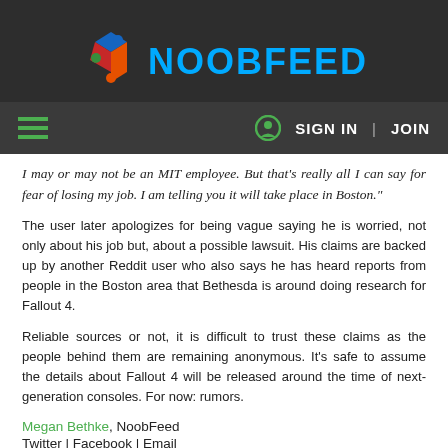NOOBFEED
I may or may not be an MIT employee. But that's really all I can say for fear of losing my job. I am telling you it will take place in Boston."
The user later apologizes for being vague saying he is worried, not only about his job but, about a possible lawsuit. His claims are backed up by another Reddit user who also says he has heard reports from people in the Boston area that Bethesda is around doing research for Fallout 4.
Reliable sources or not, it is difficult to trust these claims as the people behind them are remaining anonymous. It's safe to assume the details about Fallout 4 will be released around the time of next-generation consoles. For now: rumors.
Megan Bethke, NoobFeed
Twitter | Facebook | Email